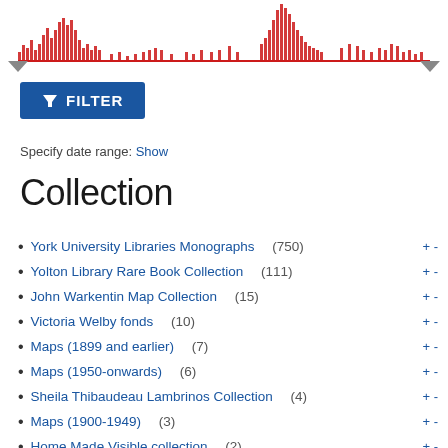[Figure (histogram): Red histogram/bar chart showing distribution over time (date range), with a horizontal red line beneath and two triangle slider handles at the bottom ends.]
▼ FILTER
Specify date range: Show
Collection
York University Libraries Monographs (750) +-
Yolton Library Rare Book Collection (111) +-
John Warkentin Map Collection (15) +-
Victoria Welby fonds (10) +-
Maps (1899 and earlier) (7) +-
Maps (1950-onwards) (6) +-
Sheila Thibaudeau Lambrinos Collection (4) +-
Maps (1900-1949) (3) +-
Home Made Visible collection (2) +-
Historical Map Collection (2) +-